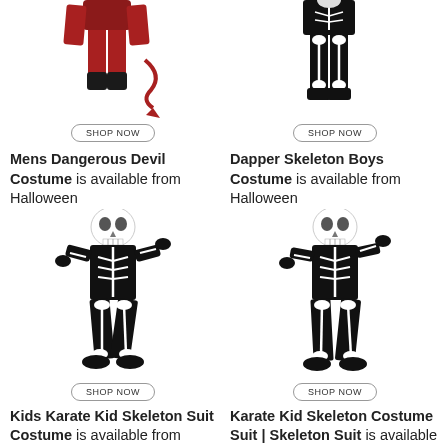[Figure (photo): Mens Dangerous Devil Costume - man in red devil outfit with tail, cropped showing lower body]
SHOP NOW
Mens Dangerous Devil Costume is available from Halloween
[Figure (photo): Dapper Skeleton Boys Costume - boy in black skeleton outfit, cropped showing lower body]
SHOP NOW
Dapper Skeleton Boys Costume is available from Halloween
[Figure (photo): Kids Karate Kid Skeleton Suit Costume - child in black skeleton jumpsuit with white skull mask, action pose]
SHOP NOW
Kids Karate Kid Skeleton Suit Costume is available from Halloween
[Figure (photo): Karate Kid Skeleton Costume Suit | Skeleton Suit - child in black skeleton jumpsuit with white skull mask, action pose]
SHOP NOW
Karate Kid Skeleton Costume Suit | Skeleton Suit is available from